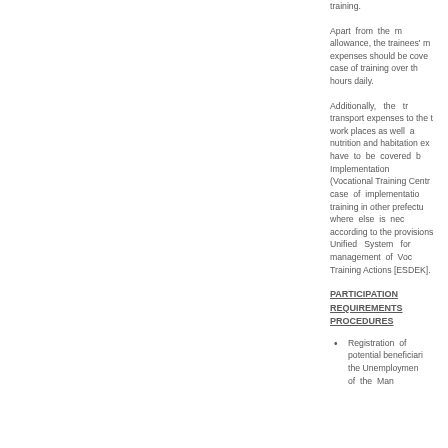training.
Apart from the allowance, the trainees' meal expenses should be covered in case of training over three hours daily.
Additionally, the transport expenses to the training work places as well as nutrition and habitation expenses have to be covered by the Implementation (Vocational Training Centre) in case of implementation of training in other prefectures or where else is necessary, according to the provisions of the Unified System for the management of Vocational Training Actions [ESDEK].
PARTICIPATION REQUIREMENTS PROCEDURES
Registration of potential beneficiaries in the Unemployment Register of the Manpower